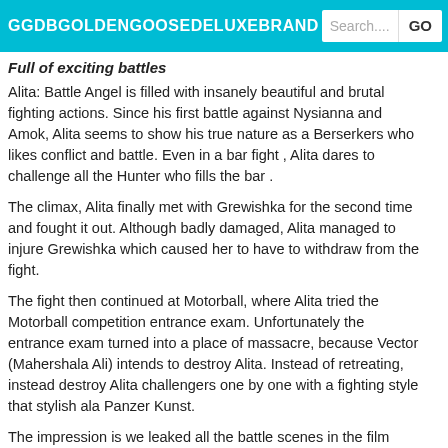GGDBGOLDENGOOSEDELUXEBRAND   Search....   GO
Full of exciting battles
Alita: Battle Angel is filled with insanely beautiful and brutal fighting actions. Since his first battle against Nysianna and Amok, Alita seems to show his true nature as a Berserkers who likes conflict and battle. Even in a bar fight , Alita dares to challenge all the Hunter who fills the bar .
The climax, Alita finally met with Grewishka for the second time and fought it out. Although badly damaged, Alita managed to injure Grewishka which caused her to have to withdraw from the fight.
The fight then continued at Motorball, where Alita tried the Motorball competition entrance exam. Unfortunately the entrance exam turned into a place of massacre, because Vector (Mahershala Ali) intends to destroy Alita. Instead of retreating, instead destroy Alita challengers one by one with a fighting style that stylish ala Panzer Kunst.
The impression is we leaked all the battle scenes in the film Alita: